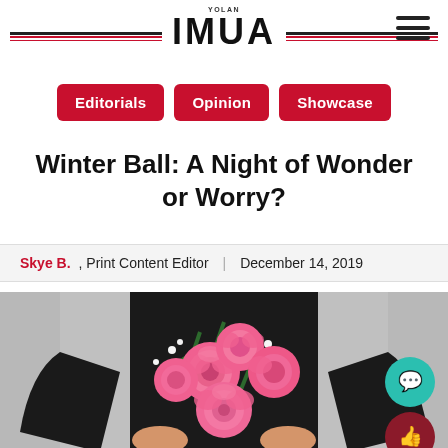YOLAN IMUA
Editorials | Opinion | Showcase
Winter Ball: A Night of Wonder or Worry?
Skye B., Print Content Editor | December 14, 2019
[Figure (photo): Person in black dress holding a bouquet of pink roses and baby's breath, with teal chat bubble icon and dark red thumbs-up icon overlaid.]